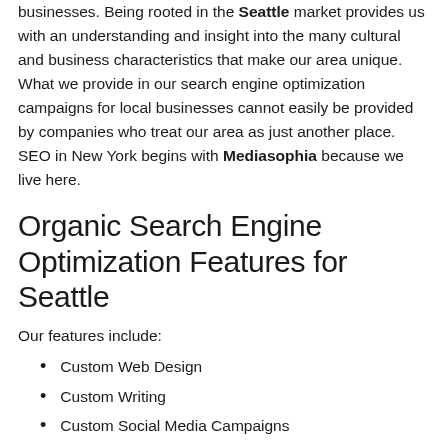businesses. Being rooted in the Seattle market provides us with an understanding and insight into the many cultural and business characteristics that make our area unique. What we provide in our search engine optimization campaigns for local businesses cannot easily be provided by companies who treat our area as just another place. SEO in New York begins with Mediasophia because we live here.
Organic Search Engine Optimization Features for Seattle
Our features include:
Custom Web Design
Custom Writing
Custom Social Media Campaigns
Custom Video Marketing
Custom Photo Optimization